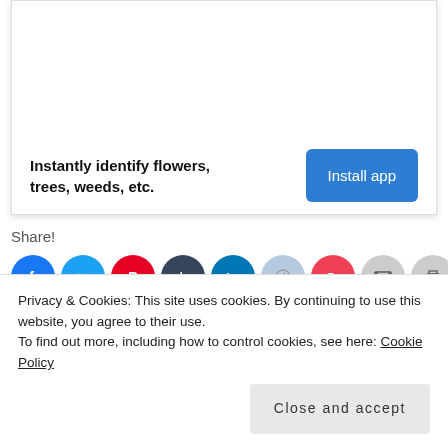[Figure (other): Advertisement banner with text 'Instantly identify flowers, trees, weeds, etc.' and an 'Install app' button]
Share!
[Figure (other): Row of social media share icons: Facebook, Twitter, Pinterest, Tumblr, LinkedIn, Reddit, Pocket, Email, Print]
Privacy & Cookies: This site uses cookies. By continuing to use this website, you agree to their use.
To find out more, including how to control cookies, see here: Cookie Policy
Close and accept